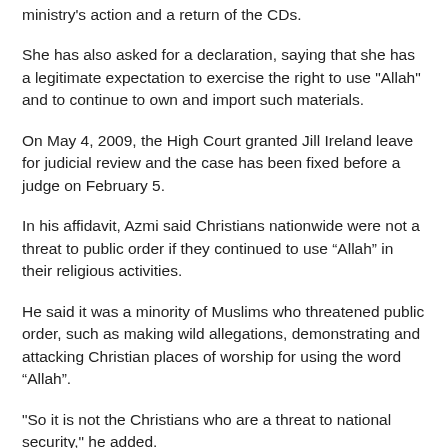ministry's action and a return of the CDs.
She has also asked for a declaration, saying that she has a legitimate expectation to exercise the right to use "Allah" and to continue to own and import such materials.
On May 4, 2009, the High Court granted Jill Ireland leave for judicial review and the case has been fixed before a judge on February 5.
In his affidavit, Azmi said Christians nationwide were not a threat to public order if they continued to use “Allah” in their religious activities.
He said it was a minority of Muslims who threatened public order, such as making wild allegations, demonstrating and attacking Christian places of worship for using the word “Allah”.
"So it is not the Christians who are a threat to national security," he added.